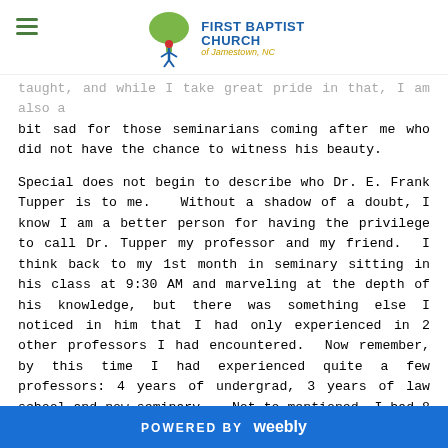First Baptist Church of Jamestown, NC
taught, and while I take great pride in that, I am also a bit sad for those seminarians coming after me who did not have the chance to witness his beauty.

Special does not begin to describe who Dr. E. Frank Tupper is to me.  Without a shadow of a doubt, I know I am a better person for having the privilege to call Dr. Tupper my professor and my friend.  I think back to my 1st month in seminary sitting in his class at 9:30 AM and marveling at the depth of his knowledge, but there was something else I noticed in him that I had only experienced in 2 other professors I had encountered.  Now remember, by this time I had experienced quite a few professors: 4 years of undergrad, 3 years of law school and now seminary.  Not to mentioned, I had 8 years of experience as an Adjunct Professor prior to entering
POWERED BY weebly